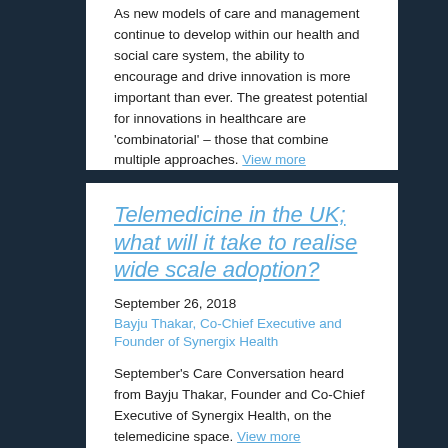As new models of care and management continue to develop within our health and social care system, the ability to encourage and drive innovation is more important than ever. The greatest potential for innovations in healthcare are 'combinatorial' – those that combine multiple approaches. View more
Telemedicine in the UK; what will it take to realise wide scale adoption?
September 26, 2018
Bayju Thakar, Co-Chief Executive and Founder of Synergix Health
September's Care Conversation heard from Bayju Thakar, Founder and Co-Chief Executive of Synergix Health, on the telemedicine space. View more